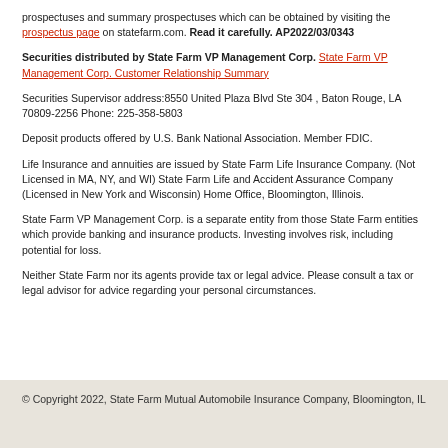prospectuses and summary prospectuses which can be obtained by visiting the prospectus page on statefarm.com. Read it carefully. AP2022/03/0343
Securities distributed by State Farm VP Management Corp. State Farm VP Management Corp. Customer Relationship Summary
Securities Supervisor address:8550 United Plaza Blvd Ste 304 , Baton Rouge, LA 70809-2256 Phone: 225-358-5803
Deposit products offered by U.S. Bank National Association. Member FDIC.
Life Insurance and annuities are issued by State Farm Life Insurance Company. (Not Licensed in MA, NY, and WI) State Farm Life and Accident Assurance Company (Licensed in New York and Wisconsin) Home Office, Bloomington, Illinois.
State Farm VP Management Corp. is a separate entity from those State Farm entities which provide banking and insurance products. Investing involves risk, including potential for loss.
Neither State Farm nor its agents provide tax or legal advice. Please consult a tax or legal advisor for advice regarding your personal circumstances.
© Copyright 2022, State Farm Mutual Automobile Insurance Company, Bloomington, IL